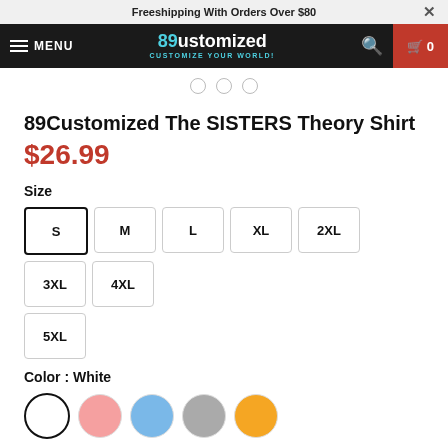Freeshipping With Orders Over $80
[Figure (screenshot): Navigation bar with hamburger menu, MENU text, 89Customized logo, search icon, and cart button showing 0 items]
[Figure (other): Three carousel dot indicators]
89Customized The SISTERS Theory Shirt
$26.99
Size
S M L XL 2XL 3XL 4XL 5XL
Color : White
[Figure (other): Five color swatches: White (selected), Pink, Blue, Gray, Yellow]